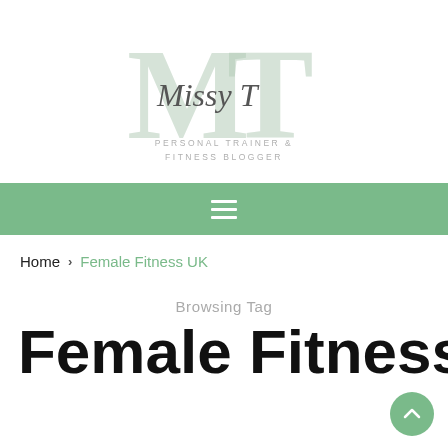[Figure (logo): Missy T Personal Trainer & Fitness Blogger logo with large light green MT letters and cursive script overlay]
☰
Home › Female Fitness UK
Browsing Tag
Female Fitness UK